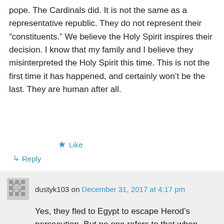pope. The Cardinals did. It is not the same as a representative republic. They do not represent their “constituents.” We believe the Holy Spirit inspires their decision. I know that my family and I believe they misinterpreted the Holy Spirit this time. This is not the first time it has happened, and certainly won’t be the last. They are human after all.
★ Like
↵ Reply
dustyk103 on December 31, 2017 at 4:17 pm
Yes, they fled to Egypt to escape Herod’s persecution. But no one refers to that when